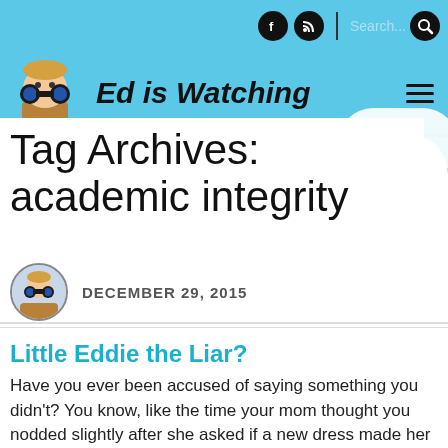Ed is Watching — navigation bar with Facebook icon, RSS icon, Search, and hamburger menu
Tag Archives: academic integrity
DECEMBER 29, 2015
Little Eddie the Liar?
Have you ever been accused of saying something you didn't? You know, like the time your mom thought you nodded slightly after she asked if a new dress made her look fat, but you were really just looking at a ball of fuzz on the floor? Or when